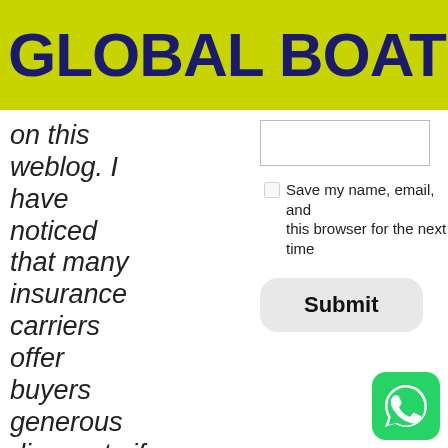GLOBAL BOAT & MARI...
on this weblog. I have noticed that many insurance carriers offer buyers generous discounts if they elect to insure a couple of cars with
[Figure (screenshot): Web form with text input field, Save my name checkbox, and Submit button]
[Figure (logo): WhatsApp logo icon (green rounded square with phone icon)]